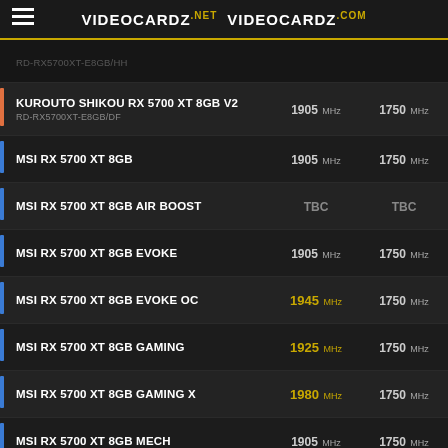VIDEOCARDZ.NET   VIDEOCARDZ.COM
| Brand | GPU Name / Model | Core Clock | Memory Clock |
| --- | --- | --- | --- |
|  | RD-RX5700XT-E8GB/HH (partial) |  |  |
|  | KUROUTO SHIKOU RX 5700 XT 8GB V2 / RD-RX5700XT-E8GB/DF | 1905 MHz | 1750 MHz |
| MSI | MSI RX 5700 XT 8GB | 1905 MHz | 1750 MHz |
| MSI | MSI RX 5700 XT 8GB AIR BOOST | TBC | TBC |
| MSI | MSI RX 5700 XT 8GB EVOKE | 1905 MHz | 1750 MHz |
| MSI | MSI RX 5700 XT 8GB EVOKE OC | 1945 MHz | 1750 MHz |
| MSI | MSI RX 5700 XT 8GB GAMING | 1925 MHz | 1750 MHz |
| MSI | MSI RX 5700 XT 8GB GAMING X | 1980 MHz | 1750 MHz |
| MSI | MSI RX 5700 XT 8GB MECH | 1905 MHz | 1750 MHz |
| MSI | MSI RX 5700 XT 8GB MECH OC | 1925 MHz | 1750 MHz |
| PowerColor | POWERCOLOR RX 5700 XT 8GB / AXRX 5700 XT8GBD6-M3DH | 1905 MHz | 1750 MHz |
| PowerColor | POWERCOLOR RX 5700 XT 8GB Liquid Devil / AXRX 5700XT8GBD6-WDH/OC | 2070 MHz | 1750 MHz |
| PowerColor | POWERCOLOR RX 5700 XT 8GB Red Devil / AXRX 5700XT8GBD6-3DHE/OC | 2010 MHz | 1750 MHz |
| PowerColor | POWERCOLOR RX 5700 XT 8GB Red Devil Limited Edition | 2010 MHz | 1750 MHz |
| PowerColor | POWERCOLOR RX 5700 XT 8GB Red Dragon / AXRX 5700-XT8GBD6-3DHR/OC | 1905 MHz | 1750 MHz |